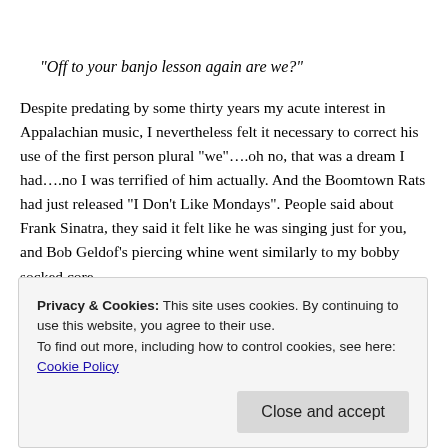“Off to your banjo lesson again are we?”
Despite predating by some thirty years my acute interest in Appalachian music, I nevertheless felt it necessary to correct his use of the first person plural “we”….oh no, that was a dream I had….no I was terrified of him actually.  And the Boomtown Rats had just released “I Don’t Like Mondays”.  People said about Frank Sinatra, they said it felt like he was singing just for you, and Bob Geldof’s piercing whine went similarly to my bobby socked core.
Privacy & Cookies: This site uses cookies. By continuing to use this website, you agree to their use.
To find out more, including how to control cookies, see here: Cookie Policy
Close and accept